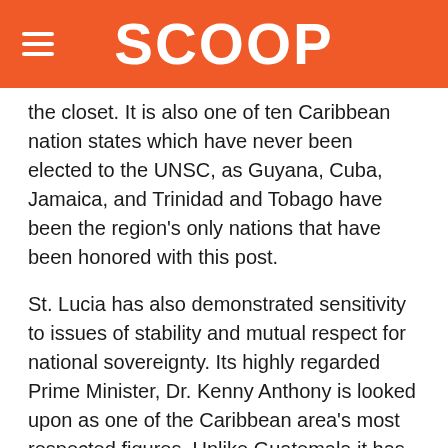SCOOP
the closet. It is also one of ten Caribbean nation states which have never been elected to the UNSC, as Guyana, Cuba, Jamaica, and Trinidad and Tobago have been the region's only nations that have been honored with this post.
St. Lucia has also demonstrated sensitivity to issues of stability and mutual respect for national sovereignty. Its highly regarded Prime Minister, Dr. Kenny Anthony is looked upon as one of the Caribbean area's most respected figures. Unlike Guatemala it has an exemplary human rights record and has been very responsive to international agreements. In the mid 1990s, St. Lucia actively backed UNSC Resolution 940 to restore democracy in Haiti after three years of brutal control by a military junta, thus supporting former President Aristide's return to power peacefully. Prime Minister Anthony stood behind President Aristide even